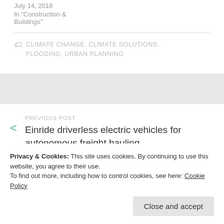July 14, 2018
In "Construction & Buildings"
CLIMATE CHANGE, CLIMATE SOLUTIONS, FLOODING, URBAN PLANNING
PREVIOUS POST
Einride driverless electric vehicles for autonomous freight hauling
Privacy & Cookies: This site uses cookies. By continuing to use this website, you agree to their use.
To find out more, including how to control cookies, see here: Cookie Policy
Close and accept